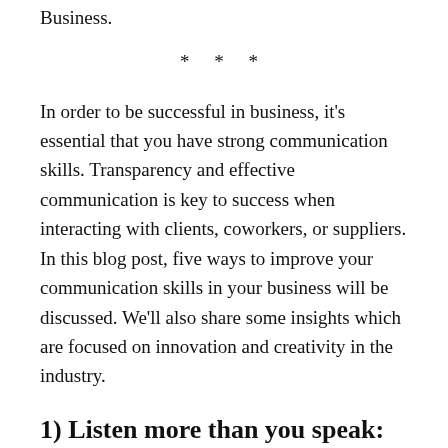Business.
* * *
In order to be successful in business, it's essential that you have strong communication skills. Transparency and effective communication is key to success when interacting with clients, coworkers, or suppliers. In this blog post, five ways to improve your communication skills in your business will be discussed. We'll also share some insights which are focused on innovation and creativity in the industry.
1) Listen more than you speak: